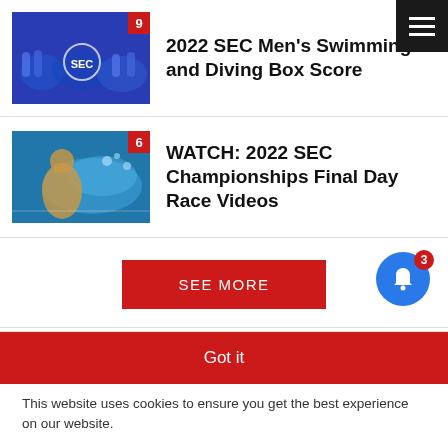[Figure (screenshot): Navigation hamburger menu button, dark background with three white horizontal lines]
[Figure (photo): Team photo of SEC swimming group in blue uniforms with SEC logo, badge showing number 9]
2022 SEC Men's Swimming and Diving Box Score
[Figure (photo): Swimmer in pool action shot, badge showing number 6]
WATCH: 2022 SEC Championships Final Day Race Videos
SEE MORE
[Figure (other): Blue bell notification icon with red badge showing number 3]
LEAVE A REPLY
Got it
This website uses cookies to ensure you get the best experience on our website.